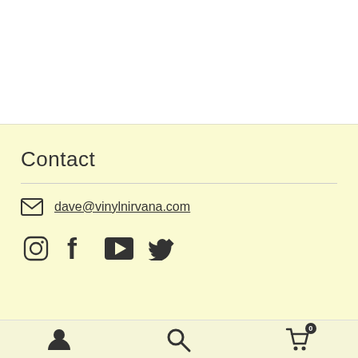Contact
dave@vinylnirvana.com
[Figure (infographic): Social media icons: Instagram, Facebook, YouTube, Twitter]
User icon, Search icon, Cart icon with badge 0